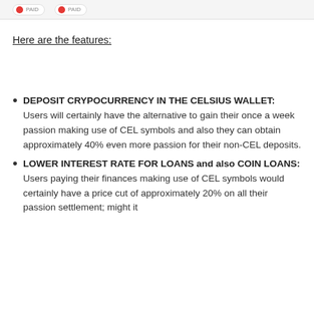[Figure (other): Two red circular badge icons with 'PAID' text labels, shown as pill-shaped tags at the top of the page]
Here are the features:
DEPOSIT CRYPOCURRENCY IN THE CELSIUS WALLET: Users will certainly have the alternative to gain their once a week passion making use of CEL symbols and also they can obtain approximately 40% even more passion for their non-CEL deposits.
LOWER INTEREST RATE FOR LOANS and also COIN LOANS: Users paying their finances making use of CEL symbols would certainly have a price cut of approximately 20% on all their passion settlement; might it